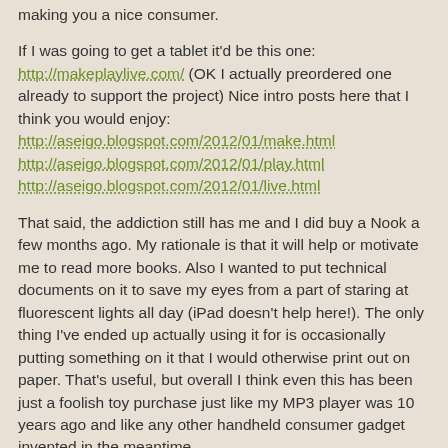making you a nice consumer.
If I was going to get a tablet it'd be this one: http://makeplaylive.com/ (OK I actually preordered one already to support the project) Nice intro posts here that I think you would enjoy: http://aseigo.blogspot.com/2012/01/make.html http://aseigo.blogspot.com/2012/01/play.html http://aseigo.blogspot.com/2012/01/live.html
That said, the addiction still has me and I did buy a Nook a few months ago. My rationale is that it will help or motivate me to read more books. Also I wanted to put technical documents on it to save my eyes from a part of staring at fluorescent lights all day (iPad doesn't help here!). The only thing I've ended up actually using it for is occasionally putting something on it that I would otherwise print out on paper. That's useful, but overall I think even this has been just a foolish toy purchase just like my MP3 player was 10 years ago and like any other handheld consumer gadget invented in the meantime.
This post was interesting because it reminds me that PC upgrades and speakers are gadgets too. I've been slowing down on the PC upgrades but I used to buy (mostly used!) parts regularly. I'll think of this post next time a newegg ad and a thought of i7 + 4GB isn't enough